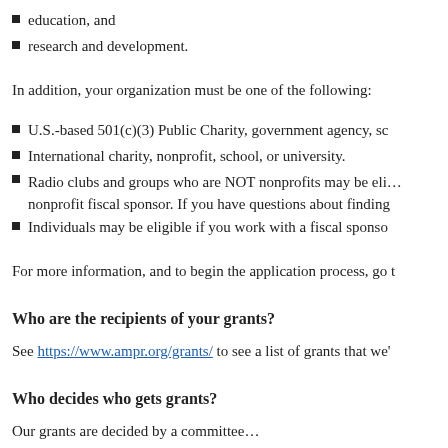education, and
research and development.
In addition, your organization must be one of the following:
U.S.-based 501(c)(3) Public Charity, government agency, sc…
International charity, nonprofit, school, or university.
Radio clubs and groups who are NOT nonprofits may be eli… nonprofit fiscal sponsor. If you have questions about finding…
Individuals may be eligible if you work with a fiscal sponso…
For more information, and to begin the application process, go t…
Who are the recipients of your grants?
See https://www.ampr.org/grants/ to see a list of grants that we'…
Who decides who gets grants?
Our grants are decided by a committee…